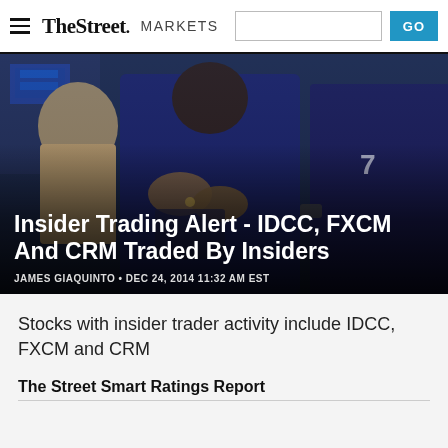TheStreet MARKETS
[Figure (photo): Stock exchange trading floor scene with traders in blue jackets handling paperwork, close-up shot]
Insider Trading Alert - IDCC, FXCM And CRM Traded By Insiders
JAMES GIAQUINTO • DEC 24, 2014 11:32 AM EST
Stocks with insider trader activity include IDCC, FXCM and CRM
The Street Smart Ratings Report